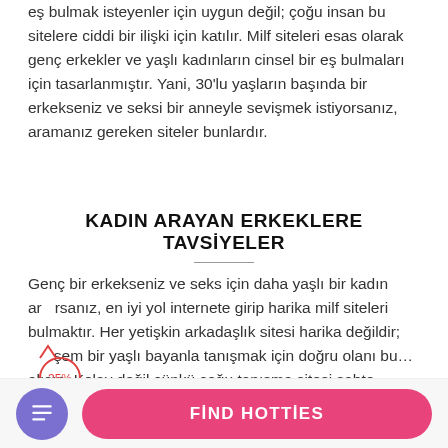eş bulmak isteyenler için uygun değil; çoğu insan bu sitelere ciddi bir ilişki için katılır. Milf siteleri esas olarak genç erkekler ve yaşlı kadınların cinsel bir eş bulmaları için tasarlanmıştır. Yani, 30'lu yaşların başında bir erkekseniz ve seksi bir anneyle sevişmek istiyorsanız, aramanız gereken siteler bunlardır.
KADIN ARAYAN ERKEKLERE TAVSİYELER
Genç bir erkekseniz ve seks için daha yaşlı bir kadın arıyorsanız, en iyi yol internete girip harika milf siteleri bulmaktır. Her yetişkin arkadaşlık sitesi harika değildir; mükemmel bir yaşlı bayanla tanışmak için doğru olanı bulmalısın. Kolay değil çünkü çoğu tanışma sitesi sahte…
[Figure (other): Red annotation marks showing an arrow and 35% label over the text]
FİND HOTTİES button and icon button in footer